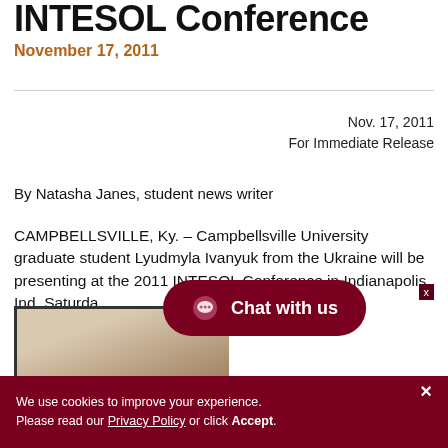INTESOL Conference
November 17, 2011
Nov. 17, 2011
For Immediate Release
By Natasha Janes, student news writer
CAMPBELLSVILLE, Ky. – Campbellsville University graduate student Lyudmyla Ivanyuk from the Ukraine will be presenting at the 2011 INTESOL Conference in Indianapolis, Ind. Saturda
[Figure (photo): Partial photo of a person, cropped at bottom of page]
Chat with us
We use cookies to improve your experience. Please read our Privacy Policy or click Accept.